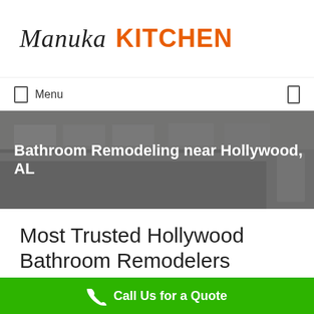[Figure (logo): Manuka KITCHEN logo — 'Manuka' in dark italic script font, 'KITCHEN' in bold orange sans-serif uppercase]
Menu
[Figure (photo): Hero banner photo of a bathroom/kitchen interior with white cabinetry, dimmed with gray overlay]
Bathroom Remodeling near Hollywood, AL
Most Trusted Hollywood Bathroom Remodelers
Call Us for a Quote